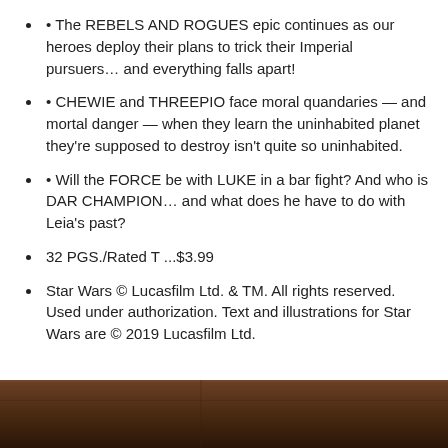• The REBELS AND ROGUES epic continues as our heroes deploy their plans to trick their Imperial pursuers… and everything falls apart!
• CHEWIE and THREEPIO face moral quandaries — and mortal danger — when they learn the uninhabited planet they're supposed to destroy isn't quite so uninhabited.
• Will the FORCE be with LUKE in a bar fight? And who is DAR CHAMPION… and what does he have to do with Leia's past?
32 PGS./Rated T ...$3.99
Star Wars © Lucasfilm Ltd. & TM. All rights reserved. Used under authorization. Text and illustrations for Star Wars are © 2019 Lucasfilm Ltd.
[Figure (photo): Dark brown wooden surface or background, a photo strip at the bottom of the page]